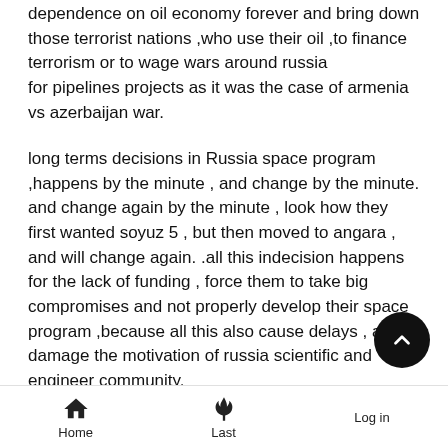dependence on oil economy forever and bring down those terrorist nations ,who use their oil ,to finance terrorism or to wage wars around russia
for pipelines projects as it was the case of armenia vs azerbaijan war.
long terms decisions in Russia space program ,happens by the minute , and change by the minute.
and change again by the minute , look how they first wanted soyuz 5 , but then moved to angara ,
and will change again. .all this indecision happens for the lack of funding , force them to take big compromises and not properly develop their space program ,because all this also cause delays , and damage the motivation of russia scientific and engineer community.
instead of choosing all of them . why not produce both at s time ,soyuz5 by one team ,and angara by another and energia
Home   Last   Log in